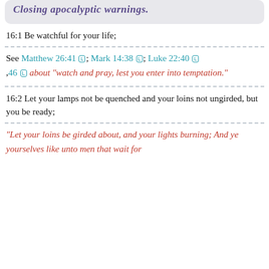Closing apocalyptic warnings.
16:1 Be watchful for your life;
See Matthew 26:41 [L]; Mark 14:38 [L]; Luke 22:40 [L] ,46 [L] about "watch and pray, lest you enter into temptation."
16:2 Let your lamps not be quenched and your loins not ungirded, but you be ready;
“Let your loins be girded about, and your lights burning; And ye yourselves like unto men that wait for